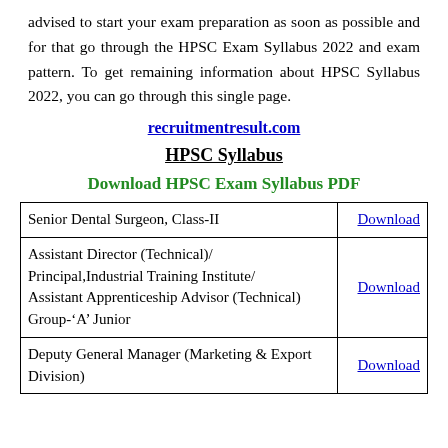advised to start your exam preparation as soon as possible and for that go through the HPSC Exam Syllabus 2022 and exam pattern. To get remaining information about HPSC Syllabus 2022, you can go through this single page.
recruitmentresult.com
HPSC Syllabus
Download HPSC Exam Syllabus PDF
|  |  |
| --- | --- |
| Senior Dental Surgeon, Class-II | Download |
| Assistant Director (Technical)/
Principal,Industrial Training Institute/
Assistant Apprenticeship Advisor (Technical)
Group-'A' Junior | Download |
| Deputy General Manager (Marketing & Export Division) | Download |